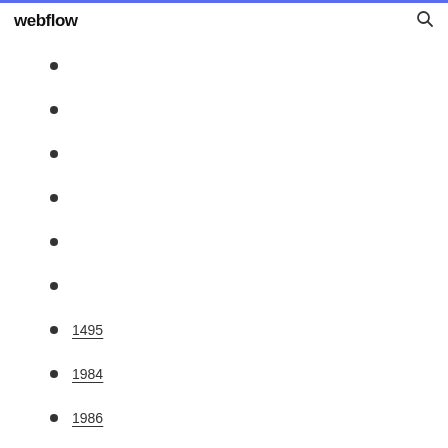webflow
1495
1984
1986
448
830
1250